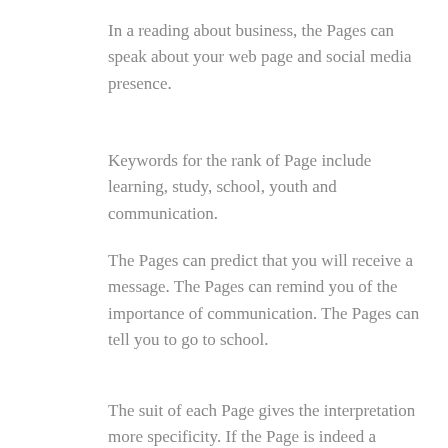In a reading about business, the Pages can speak about your web page and social media presence.
Keywords for the rank of Page include learning, study, school, youth and communication.
The Pages can predict that you will receive a message. The Pages can remind you of the importance of communication. The Pages can tell you to go to school.
The suit of each Page gives the interpretation more specificity. If the Page is indeed a person, the suit will give us a hint about their personality. If the Page is telling us to communicate, or suggesting that we will receive communication, the suit will tell us what the communication is about. If the Page is telling us to study something or learn something, the suit will